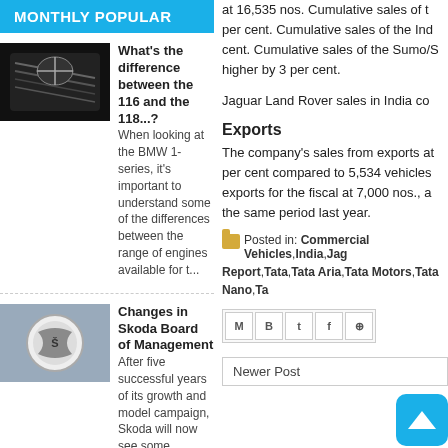MONTHLY POPULAR
What's the difference between the 116 and the 118...?
When looking at the BMW 1-series, it's important to understand some of the differences between the range of engines available for t...
Changes in Skoda Board of Management
After five successful years of its growth and model campaign, Skoda will now see some changes at the top. On November 1, 2015, Bernhard M...
Isuzu Motors India opens its new 3S facility in Pune
As part of its network expansion drive, Isuzu Motors...
at 16,535 nos. Cumulative sales of t per cent. Cumulative sales of the Ind cent. Cumulative sales of the Sumo/S higher by 3 per cent.
Jaguar Land Rover sales in India co
Exports
The company's sales from exports at per cent compared to 5,534 vehicles exports for the fiscal at 7,000 nos., a the same period last year.
Posted in: Commercial Vehicles, India, Jag Report, Tata, Tata Aria, Tata Motors, Tata Nano, Ta
Newer Post
0 comments: